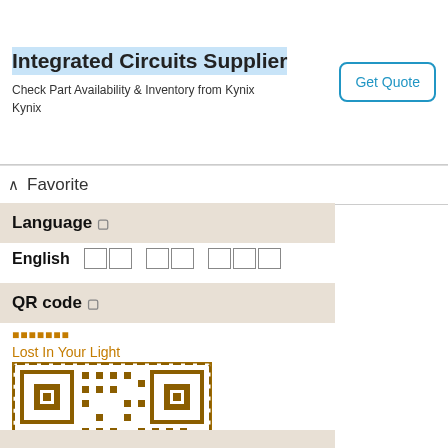Integrated Circuits Supplier
Check Part Availability & Inventory from Kynix
Kynix
Get Quote
Favorite
Language 🔵
English 한국어 日本語 中文
QR code 🔵
□□□□□□□
Lost In Your Light
[Figure (other): QR code with brown/tan pattern and MO JIM text in center]